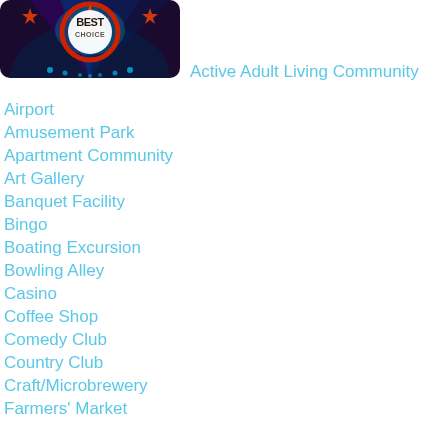[Figure (logo): Best Choice award logo with colorful circular badge design featuring red, blue, and orange elements with lights/spotlights in background]
Active Adult Living Community
Airport
Amusement Park
Apartment Community
Art Gallery
Banquet Facility
Bingo
Boating Excursion
Bowling Alley
Casino
Coffee Shop
Comedy Club
Country Club
Craft/Microbrewery
Farmers' Market